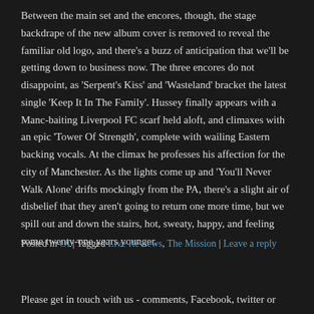Between the main set and the encores, though, the stage backdrape of the new album cover is removed to reveal the familiar old logo, and there's a buzz of anticipation that we'll be getting down to business now. The three encores do not disappoint, as 'Serpent's Kiss' and 'Wasteland' bracket the latest single 'Keep It In The Family'. Hussey finally appears with a Manc-baiting Liverpool FC scarf held aloft, and climaxes with an epic 'Tower Of Strength', complete with wailing Eastern backing vocals. At the climax he professes his affection for the city of Manchester. As the lights come up and 'You'll Never Walk Alone' drifts mockingly from the PA, there's a slight air of disbelief that they aren't going to return one more time, but we spill out and down the stairs, hot, sweaty, happy, and feeling some twenty-one years younger.
Posted in OI | Tagged Live Reviews, The Mission | Leave a reply
Please get in touch with us - comments, Facebook, twitter or